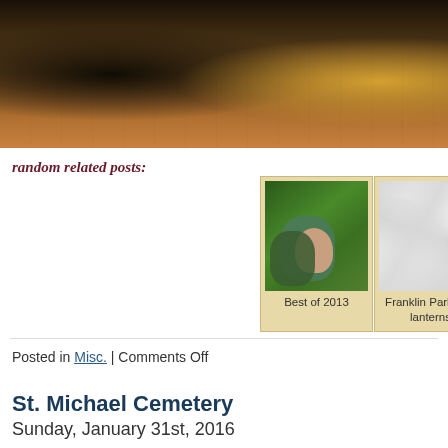[Figure (photo): Street scene at golden hour, person walking away with backpack on urban sidewalk with brick buildings]
random related posts:
[Figure (photo): Photo of couple hugging outdoors, green background]
Best of 2013
[Figure (photo): Placeholder gray image for Franklin Park Zoo lanterns post]
Franklin Park Zoo lanterns
Posted in Misc. | Comments Off
St. Michael Cemetery
Sunday, January 31st, 2016